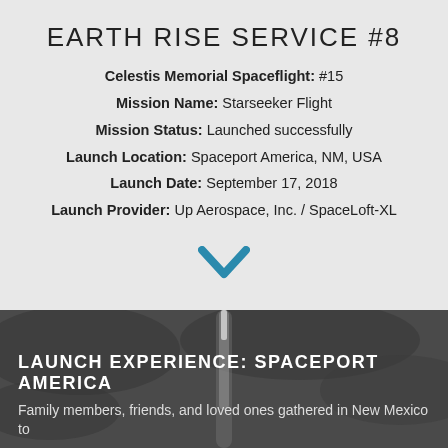EARTH RISE SERVICE #8
Celestis Memorial Spaceflight: #15
Mission Name: Starseeker Flight
Mission Status: Launched successfully
Launch Location: Spaceport America, NM, USA
Launch Date: September 17, 2018
Launch Provider: Up Aerospace, Inc. / SpaceLoft-XL
[Figure (illustration): Teal/blue downward chevron arrow icon]
[Figure (photo): Rocket launch with smoke trail against a dark grey cloudy sky]
LAUNCH EXPERIENCE: SPACEPORT AMERICA
Family members, friends, and loved ones gathered in New Mexico to